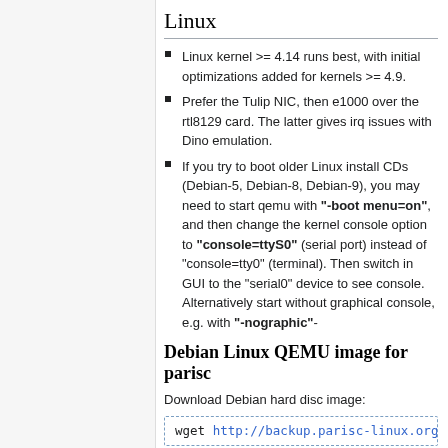Linux
Linux kernel >= 4.14 runs best, with initial optimizations added for kernels >= 4.9.
Prefer the Tulip NIC, then e1000 over the rtl8129 card. The latter gives irq issues with Dino emulation.
If you try to boot older Linux install CDs (Debian-5, Debian-8, Debian-9), you may need to start qemu with "-boot menu=on", and then change the kernel console option to "console=ttyS0" (serial port) instead of "console=tty0" (terminal). Then switch in GUI to the "serial0" device to see console. Alternatively start without graphical console, e.g. with "-nographic"-
Debian Linux QEMU image for parisc
Download Debian hard disc image:
wget http://backup.parisc-linux.org